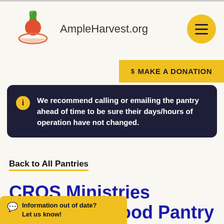[Figure (logo): AmpleHarvest.org logo with leaf/tomato graphic and hands]
$ MAKE A DONATION
We recommend calling or emailing the pantry ahead of time to be sure their days/hours of operation have not changed.
Back to All Pantries
CROS Ministries Indiantown Food Pantry / Indiantown Baptist Church
Information out of date? Let us know!